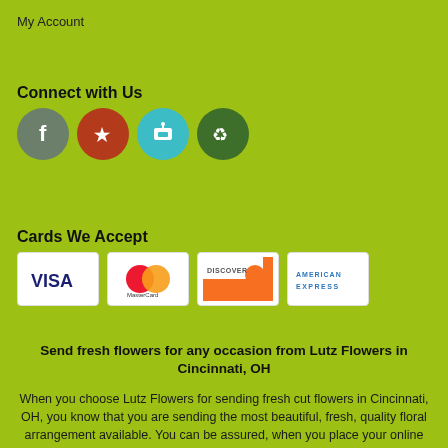My Account
Connect with Us
[Figure (illustration): Four social media/app icon circles: Facebook (grey-green), Yelp (red-brown), a bird/delivery icon (teal), and a recycle icon (dark green)]
Cards We Accept
[Figure (illustration): Four payment card logos: VISA, MasterCard, Discover, American Express]
Send fresh flowers for any occasion from Lutz Flowers in Cincinnati, OH
When you choose Lutz Flowers for sending fresh cut flowers in Cincinnati, OH, you know that you are sending the most beautiful, fresh, quality floral arrangement available. You can be assured, when you place your online order, your flower delivery in the